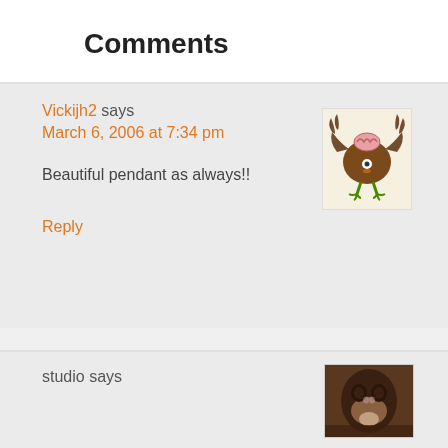Comments
Vickijh2 says
March 6, 2006 at 7:34 pm
[Figure (illustration): Cartoon creature avatar: a round brown bird-like body with bat wings, a pink brain visible on top of its head, a single eye, and green bird legs standing upright]
Beautiful pendant as always!!
Reply
studio says
[Figure (photo): Photo of an animal, appears to be a monkey or primate with dark fur, partially visible at the bottom of the page]